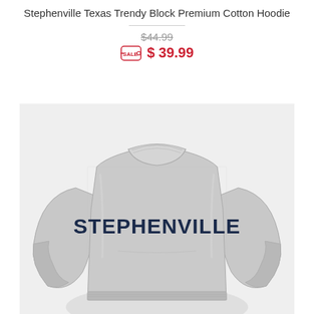Stephenville Texas Trendy Block Premium Cotton Hoodie
$44.99 (original price, strikethrough)
$ 39.99 (sale price)
[Figure (photo): Gray heather crewneck sweatshirt with STEPHENVILLE printed in dark navy block letters across the chest]